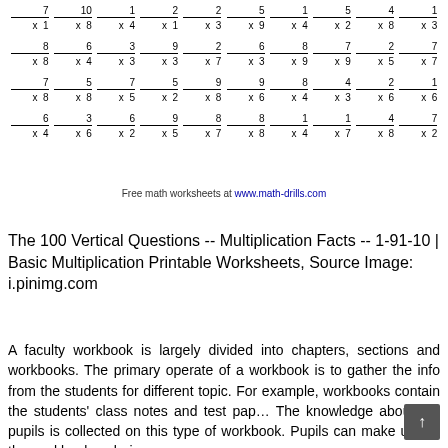[Figure (other): Multiplication worksheet with vertical multiplication problems arranged in a grid. Row 1: 7x1, 10x8, 1x4, 2x1, 2x3, 5x9, 1x4, 5x2, 4x8, 1x3. Row 2: 8x8, 6x4, 3x3, 9x3, 2x7, 6x3, 8x9, 7x9, 2x5, 7x7. Row 3: 7x8, 5x8, 7x5, 5x2, 9x8, 9x6, 8x4, 4x3, 2x6, 1x6. Row 4: 6x4, 3x6, 6x2, 9x5, 8x7, 8x8, 1x4, 1x7, 4x8, 7x2.]
Free math worksheets at www.math-drills.com
The 100 Vertical Questions -- Multiplication Facts -- 1-91-10 | Basic Multiplication Printable Worksheets, Source Image: i.pinimg.com
A faculty workbook is largely divided into chapters, sections and workbooks. The primary operate of a workbook is to gather the info from the students for different topic. For example, workbooks contain the students' class notes and test pap... The knowledge about the pupils is collected on this type of workbook. Pupils can make use of the workbook as being...